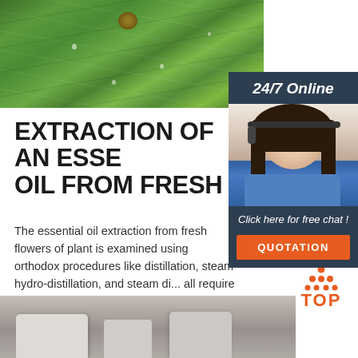[Figure (photo): Close-up photo of green tropical leaves with water droplets and a small snail or seed visible]
[Figure (photo): Sidebar with '24/7 Online' header, photo of woman with headset smiling, 'Click here for free chat!' text, and orange QUOTATION button]
EXTRACTION OF AN ESSENTIAL OIL FROM FRESH
The essential oil extraction from fresh flowers of plant is examined using orthodox procedures like distillation, steam hydro-distillation, and steam di... all require a ...
[Figure (other): Green 'Get Price' button]
[Figure (logo): Orange TOP logo with triangular arrangement of dots above the word TOP]
[Figure (photo): Bottom photo showing scientific/industrial equipment in gray tones]